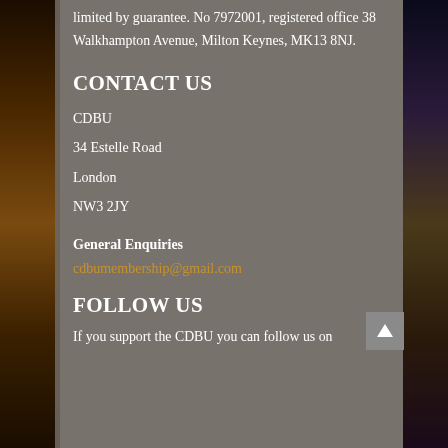limited by guarantee. No 7972001, registered office 38 Walkhampton Avenue, Milton Keynes, MK13 8NJ.
CONTACT US
CDBU
34 Estelle Road
London
NW3 2JY
General Enquiries
cdbumembership@gmail.com
FOLLOW US
If you support the CDBU you can follow us on